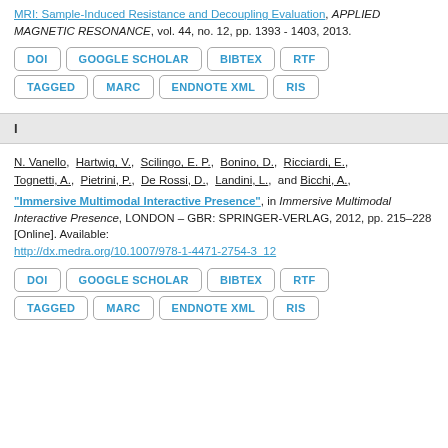MRI: Sample-Induced Resistance and Decoupling Evaluation, APPLIED MAGNETIC RESONANCE, vol. 44, no. 12, pp. 1393 - 1403, 2013.
DOI | GOOGLE SCHOLAR | BIBTEX | RTF | TAGGED | MARC | ENDNOTE XML | RIS
I
N. Vanello, Hartwig, V., Scilingo, E. P., Bonino, D., Ricciardi, E., Tognetti, A., Pietrini, P., De Rossi, D., Landini, L., and Bicchi, A., "Immersive Multimodal Interactive Presence", in Immersive Multimodal Interactive Presence, LONDON – GBR: SPRINGER-VERLAG, 2012, pp. 215–228 [Online]. Available: http://dx.medra.org/10.1007/978-1-4471-2754-3_12
DOI | GOOGLE SCHOLAR | BIBTEX | RTF | TAGGED | MARC | ENDNOTE XML | RIS